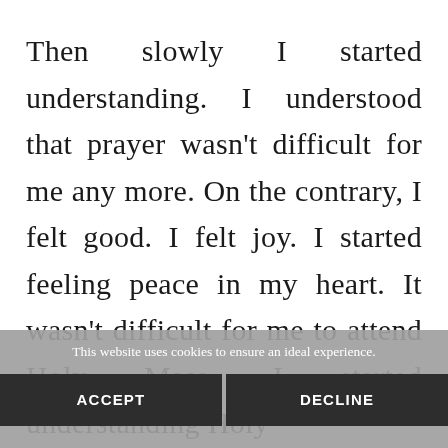Then slowly I started understanding. I understood that prayer wasn't difficult for me any more. On the contrary, I felt good. I felt joy. I started feeling peace in my heart. It wasn't difficult for me to attend Holy Mass. I started understanding Holy
This website uses cookies to ensure an ideal experience.
ACCEPT
DECLINE